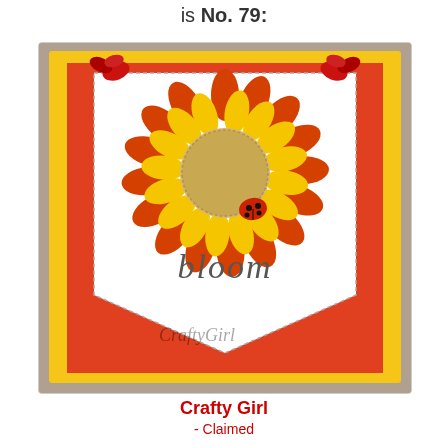is No. 79:
[Figure (photo): A handmade craft card featuring a banner-shaped pennant with a sunflower illustration and a ladybug, with the word 'bloom' in script. The card has layered yellow and orange-red cardstock with a chevron point at the bottom, decorated with red ribbon bows at the top. Watermark reads 'CraftyGirl'.]
Crafty Girl
- Claimed